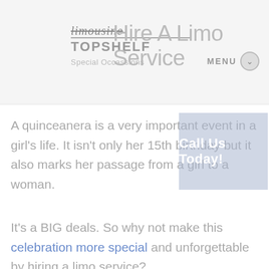[Figure (logo): Limousine TopShelf logo with cursive strikethrough text and block uppercase TOPSHELF text]
Hire A Limo Service
MENU
Special Occassions
Call Us Today!
A quinceanera is a very important event in a girl's life. It isn't only her 15th birthday but it also marks her passage from a girl to a woman.
It's a BIG deals. So why not make this celebration more special and unforgettable by hiring a limo service?
What Is A Quinceañera?